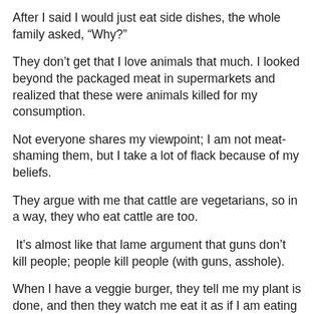After I said I would just eat side dishes, the whole family asked, “Why?”
They don’t get that I love animals that much. I looked beyond the packaged meat in supermarkets and realized that these were animals killed for my consumption.
Not everyone shares my viewpoint; I am not meat-shaming them, but I take a lot of flack because of my beliefs.
They argue with me that cattle are vegetarians, so in a way, they who eat cattle are too.
It’s almost like that lame argument that guns don’t kill people; people kill people (with guns, asshole).
When I have a veggie burger, they tell me my plant is done, and then they watch me eat it as if I am eating shit.
They don’t understand that I don’t want to eat “Impossible Burgers.” My “burger” doesn’t taste like meat; that’s the whole idea of